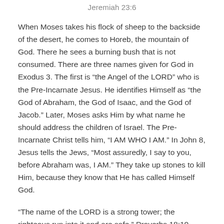Jeremiah 23:6
When Moses takes his flock of sheep to the backside of the desert, he comes to Horeb, the mountain of God. There he sees a burning bush that is not consumed. There are three names given for God in Exodus 3. The first is “the Angel of the LORD” who is the Pre-Incarnate Jesus. He identifies Himself as “the God of Abraham, the God of Isaac, and the God of Jacob.” Later, Moses asks Him by what name he should address the children of Israel. The Pre-Incarnate Christ tells him, “I AM WHO I AM.” In John 8, Jesus tells the Jews, “Most assuredly, I say to you, before Abraham was, I AM.” They take up stones to kill Him, because they know that He has called Himself God.
“The name of the LORD is a strong tower; the righteous run into it and are safe.” Proverbs 18:10